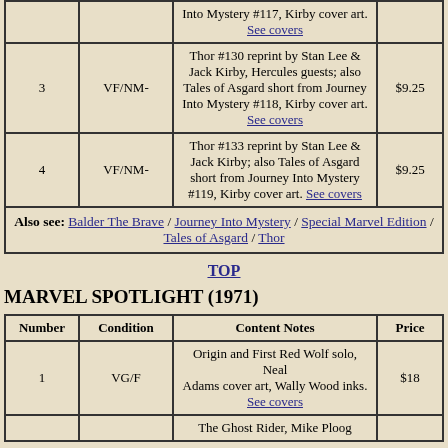| Number | Condition | Content Notes | Price |
| --- | --- | --- | --- |
|  |  | Into Mystery #117, Kirby cover art. See covers |  |
| 3 | VF/NM- | Thor #130 reprint by Stan Lee & Jack Kirby, Hercules guests; also Tales of Asgard short from Journey Into Mystery #118, Kirby cover art. See covers | $9.25 |
| 4 | VF/NM- | Thor #133 reprint by Stan Lee & Jack Kirby; also Tales of Asgard short from Journey Into Mystery #119, Kirby cover art. See covers | $9.25 |
| Also see: Balder The Brave / Journey Into Mystery / Special Marvel Edition / Tales of Asgard / Thor |  |  |  |
TOP
MARVEL SPOTLIGHT (1971)
| Number | Condition | Content Notes | Price |
| --- | --- | --- | --- |
| 1 | VG/F | Origin and First Red Wolf solo, Neal Adams cover art, Wally Wood inks. See covers | $18 |
|  |  | The Ghost Rider, Mike Ploog... |  |